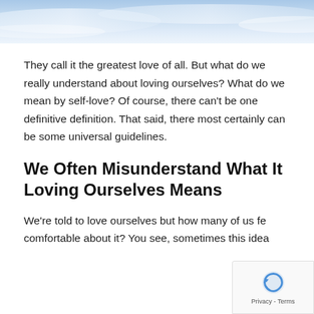[Figure (photo): Sky background image with blue sky and clouds, at the top of the page]
They call it the greatest love of all. But what do we really understand about loving ourselves? What do we mean by self-love? Of course, there can't be one definitive definition. That said, there most certainly can be some universal guidelines.
We Often Misunderstand What It Loving Ourselves Means
We're told to love ourselves but how many of us feel comfortable about it? You see, sometimes this idea...